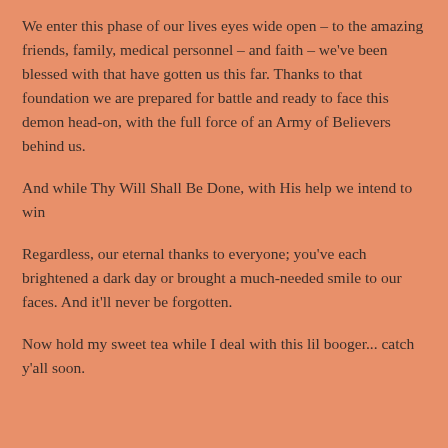We enter this phase of our lives eyes wide open – to the amazing friends, family, medical personnel – and faith – we've been blessed with that have gotten us this far. Thanks to that foundation we are prepared for battle and ready to face this demon head-on, with the full force of an Army of Believers behind us.
And while Thy Will Shall Be Done, with His help we intend to win
Regardless, our eternal thanks to everyone; you've each brightened a dark day or brought a much-needed smile to our faces. And it'll never be forgotten.
Now hold my sweet tea while I deal with this lil booger... catch y'all soon.